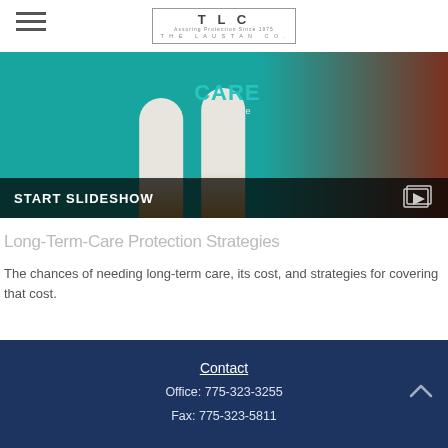TLC — The Laustan Co. (logo with hamburger menu)
[Figure (photo): Slideshow thumbnail showing CARE Insurance pill bottles on teal background with dark overlay bar showing START SLIDESHOW and a slideshow icon]
Long-Term-Care Protection Strategies
The chances of needing long-term care, its cost, and strategies for covering that cost.
Contact
Office: 775-323-3255
Fax: 775-323-5811